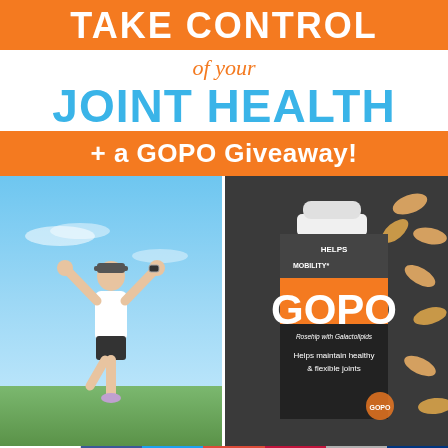TAKE CONTROL of your JOINT HEALTH
+ a GOPO Giveaway!
[Figure (photo): Person standing in yoga tree pose outdoors with arms raised against blue sky background]
[Figure (photo): GOPO rosehip supplement bottle with galactolipids, white bottle with orange and black label, with scattered capsules on dark background. Text: Helps maintain healthy & flexible joints]
106 Shares
f (Facebook share button)
Twitter share button
G+ (Google Plus share button)
Pinterest share button — 103
Email share button
Bookmark share button